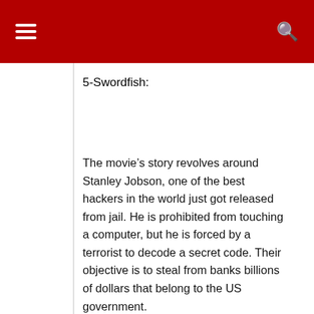5-Swordfish:
The movie’s story revolves around Stanley Jobson, one of the best hackers in the world just got released from jail. He is prohibited from touching a computer, but he is forced by a terrorist to decode a secret code. Their objective is to steal from banks billions of dollars that belong to the US government.